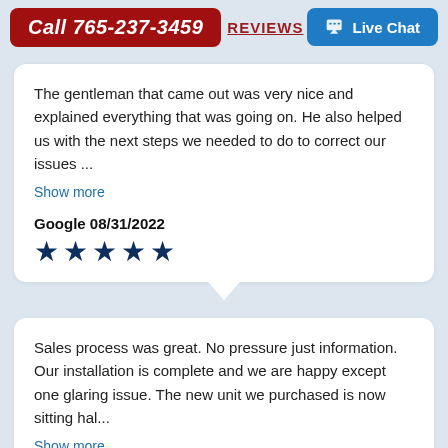Call 765-237-3459 | REVIEWS | Live Chat
The gentleman that came out was very nice and explained everything that was going on. He also helped us with the next steps we needed to do to correct our issues ...
Show more
Google 08/31/2022
[Figure (other): 5 dark blue stars rating]
Sales process was great. No pressure just information. Our installation is complete and we are happy except one glaring issue. The new unit we purchased is now sitting hal...
Show more